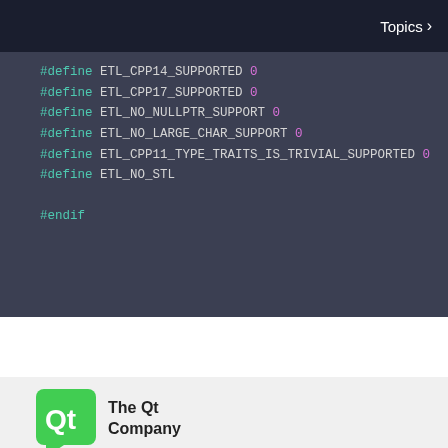Topics >
#define ETL_CPP14_SUPPORTED 0
#define ETL_CPP17_SUPPORTED 0
#define ETL_NO_NULLPTR_SUPPORT 0
#define ETL_NO_LARGE_CHAR_SUPPORT 0
#define ETL_CPP11_TYPE_TRAITS_IS_TRIVIAL_SUPPORTED 0
#define ETL_NO_STL

#endif
[Figure (logo): The Qt Company logo with green Qt speech-bubble icon and 'The Qt Company' text]
[Figure (infographic): Social media icons row: Facebook, Twitter, YouTube, LinkedIn — all in green]